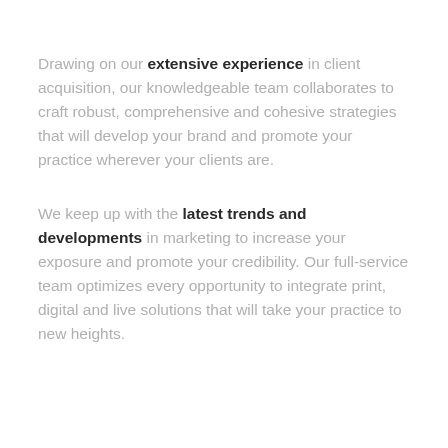Drawing on our extensive experience in client acquisition, our knowledgeable team collaborates to craft robust, comprehensive and cohesive strategies that will develop your brand and promote your practice wherever your clients are.
We keep up with the latest trends and developments in marketing to increase your exposure and promote your credibility. Our full-service team optimizes every opportunity to integrate print, digital and live solutions that will take your practice to new heights.